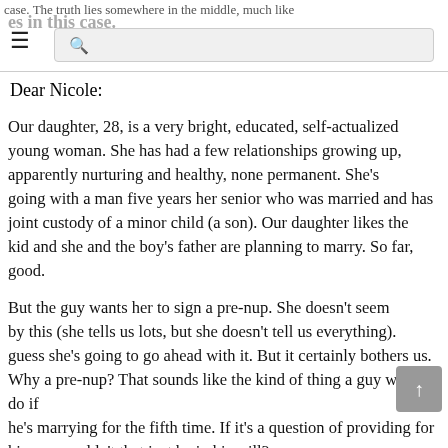case. The truth lies somewhere in the middle, much like es in this case.
Dear Nicole:
Our daughter, 28, is a very bright, educated, self-actualized young woman. She has had a few relationships growing up, apparently nurturing and healthy, none permanent. She's going with a man five years her senior who was married and has joint custody of a minor child (a son). Our daughter likes the kid and she and the boy's father are planning to marry. So far, good.
But the guy wants her to sign a pre-nup. She doesn't seem bothered by this (she tells us lots, but she doesn't tell us everything). I guess she's going to go ahead with it. But it certainly bothers us. Why a pre-nup? That sounds like the kind of thing a guy would do if he's marrying for the fifth time. If it's a question of providing for his son, couldn't that just be in his will?
We haven't brought this up with our daughter as it is her life, not ours. But can you tell us anything about pre-nups that